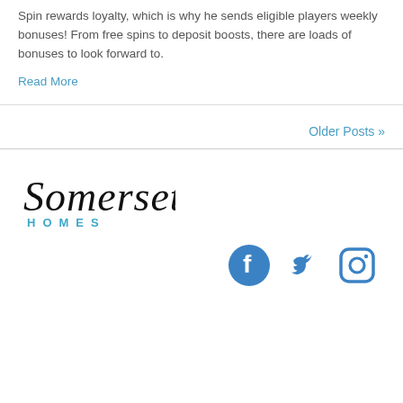Spin rewards loyalty, which is why he sends eligible players weekly bonuses! From free spins to deposit boosts, there are loads of bonuses to look forward to.
Read More
Older Posts »
[Figure (logo): Somerset Homes logo with cursive 'Somerset' text above 'HOMES' in spaced teal capital letters]
[Figure (infographic): Social media icons: Facebook (circle with f), Twitter (bird), Instagram (camera outline), all in medium blue]